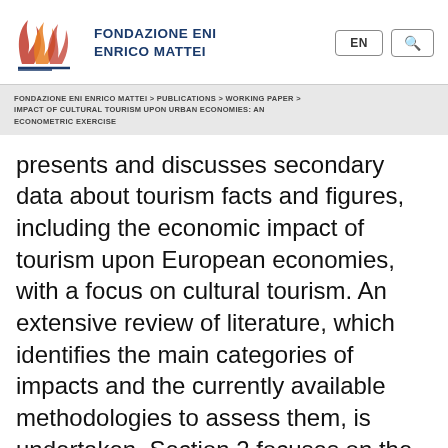[Figure (logo): Fondazione Eni Enrico Mattei logo with stylized red/orange flame/leaf graphic and blue text]
FONDAZIONE ENI ENRICO MATTEI > PUBLICATIONS > WORKING PAPER > IMPACT OF CULTURAL TOURISM UPON URBAN ECONOMIES: AN ECONOMETRIC EXERCISE
presents and discusses secondary data about tourism facts and figures, including the economic impact of tourism upon European economies, with a focus on cultural tourism. An extensive review of literature, which identifies the main categories of impacts and the currently available methodologies to assess them, is undertaken. Section 2 focuses on the state of the art. Section 3 describes the database built for the analysis, sources and variables. In order to visually represent the spatial variability of the